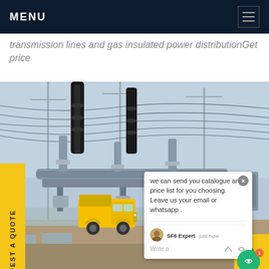MENU
transmission lines and gas insulated power distributionGet price
[Figure (photo): Electrical substation with high-voltage equipment, SF6 gas insulated switchgear, and a yellow service truck. A chat popup overlay is visible showing: 'we can send you catalogue and price list for you choosing. Leave us your email or whatsapp .' with SF6 Expert and 'just now' timestamp and 'Write a' prompt.]
REQUEST A QUOTE